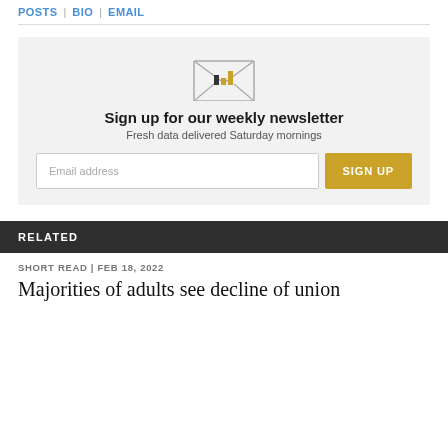POSTS | BIO | EMAIL
[Figure (illustration): Envelope icon with small bar chart inside, newsletter signup graphic]
Sign up for our weekly newsletter
Fresh data delivered Saturday mornings
RELATED
SHORT READ | FEB 18, 2022
Majorities of adults see decline of union